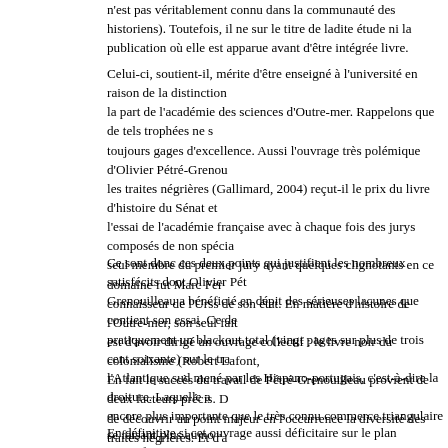n'est pas véritablement connu dans la communauté des historiens). Toutefois, il ne sur le titre de ladite étude ni la publication où elle est apparue avant d'être intégrée livre.
Celui-ci, soutient-il, mérite d'être enseigné à l'université en raison de la distinction la part de l'académie des sciences d'Outre-mer. Rappelons que de tels trophées ne s toujours gages d'excellence. Aussi l'ouvrage très polémique d'Olivier Pétré-Grenou les traites négrières (Gallimard, 2004) reçut-il le prix du livre d'histoire du Sénat et l'essai de l'académie française avec à chaque fois des jurys composés de non spécia seul membre du premier jury ayant quelques clignotants en ce domaine fut Marc Fer connaisseur de l'Urss de son état. En matière d'histoire de l'Outre-mer, son seul fai est d'avoir dirigé un ouvrage collectif : le livre noir du colonialisme (Robert Lafont, En fait le succès du travail de Pétré-Grenouilleau provient de deux facteurs précis. de découvrir un point majeur en l'occurrence la diversité des traites négrières. Et d' il est apparu comme une forme d'absolution des Européens qui n'étaient opportunér les seuls méchants négriers. Responsabilité qu'ils partageaient dorénavant avec les A les Africains eux-mêmes.
Ce sont donc ces deux points qui justifient les nombreux satisfécits dont Olivier Pét Grenouilleau a bénéficié en dépit des sérieuses lacunes que contient son essai. Ce d pratiquement un blackout total (vingt pages sur plus de trois cent soixante) sur le tra l'Atlantique sud mené par les Hispano-portugais, c'est-à-dire la droiture. Laquelle a encore plus importante que le très connu commerce triangulaire se faisant plus au n plus cet historien reprend par devers lui des chiffres fantaisistes quant au nombre de dans le cadre du trafic transaharien et de l'océan indien. Fantaisiste car n'offrant pa contrairement aux échanges de l'ouest des sources bien chiffrées et quantifiables.
En définitive si cet ouvrage aussi déficitaire sur le plan scientifique a pu recevoir au